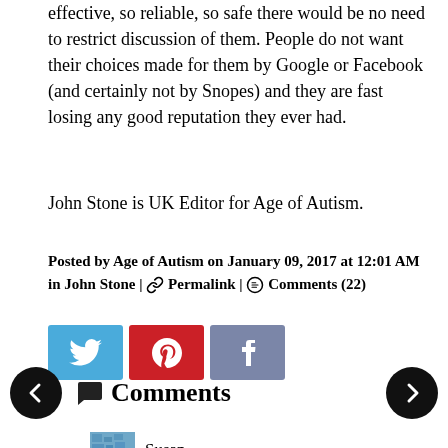effective, so reliable, so safe there would be no need to restrict discussion of them. People do not want their choices made for them by Google or Facebook (and certainly not by Snopes) and they are fast losing any good reputation they ever had.
John Stone is UK Editor for Age of Autism.
Posted by Age of Autism on January 09, 2017 at 12:01 AM in John Stone | Permalink | Comments (22)
[Figure (other): Social share buttons: Twitter (blue), Pinterest (red), Facebook (grey-blue)]
Comments
Susan